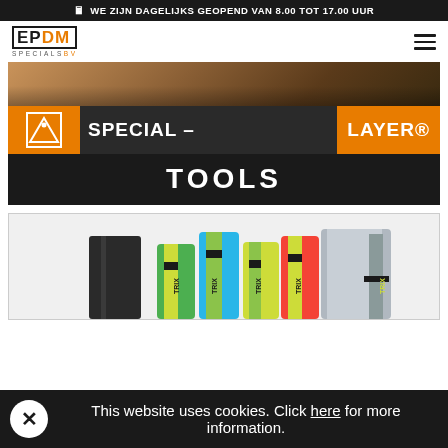WE ZIJN DAGELIJKS GEOPEND VAN 8.00 TOT 17.00 UUR
[Figure (logo): EPDM Specials BV logo with orange DM text]
[Figure (illustration): Special-Layer Tools hero banner with logo, brand name and TOOLS text on dark background]
[Figure (photo): Product rolls photo showing multiple colored TRIX product rolls]
This website uses cookies. Click here for more information.